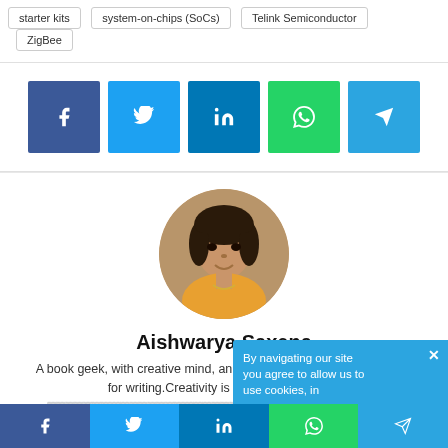starter kits
system-on-chips (SoCs)
Telink Semiconductor
ZigBee
[Figure (infographic): Social share buttons: Facebook, Twitter, LinkedIn, WhatsApp, Telegram]
[Figure (photo): Circular profile photo of Aishwarya Saxena]
Aishwarya Saxena
A book geek, with creative mind, an electronics degree, and zealous for writing.Creativity is the one thing in her drove her to enter into editing field. Allured towards
[Figure (infographic): Bottom share bar: Facebook, Twitter, LinkedIn, WhatsApp, Telegram]
By navigating our site, you agree to allow us to use cookies, in